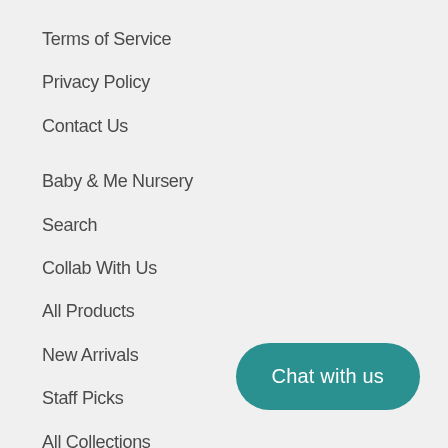Terms of Service
Privacy Policy
Contact Us
Baby & Me Nursery
Search
Collab With Us
All Products
New Arrivals
Staff Picks
All Collections
Chat with us